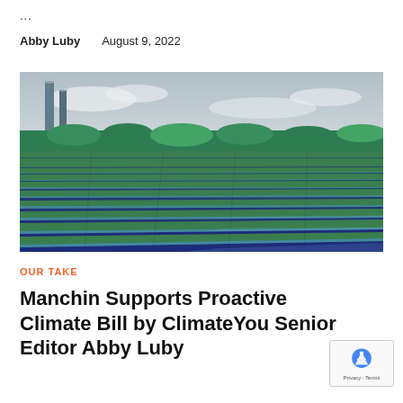...
Abby Luby    August 9, 2022
[Figure (photo): Aerial view of a large solar panel farm with rows of solar panels extending into the distance, green trees in the background, and industrial smokestacks visible on the left under an overcast sky.]
OUR TAKE
Manchin Supports Proactive Climate Bill by ClimateYou Senior Editor A... Luby